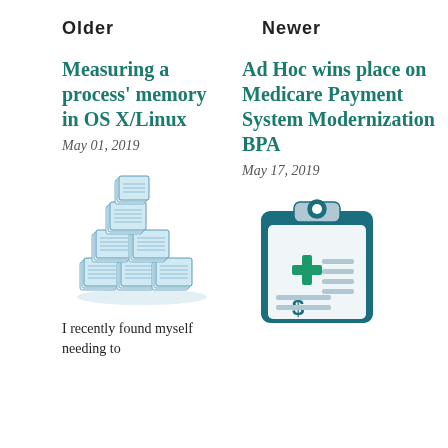Older	Newer
Measuring a process' memory in OS X/Linux
May 01, 2019
[Figure (illustration): Stack of papers/documents illustration]
I recently found myself needing to
Ad Hoc wins place on Medicare Payment System Modernization BPA
May 17, 2019
[Figure (illustration): Medical clipboard with cross and dollar sign icon]